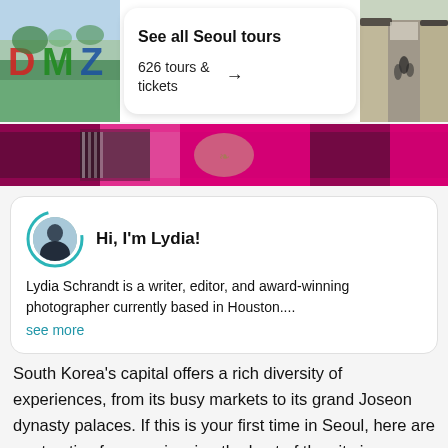[Figure (photo): Photo of DMZ colorful letter sculptures in a garden]
[Figure (infographic): White card with 'See all Seoul tours', '626 tours & tickets' and arrow]
[Figure (photo): Photo of a traditional Korean alley with people walking]
[Figure (photo): Pink banner with crowd photo]
[Figure (photo): Author avatar of Lydia with teal ring]
Hi, I'm Lydia!
Lydia Schrandt is a writer, editor, and award-winning photographer currently based in Houston.... see more
South Korea's capital offers a rich diversity of experiences, from its busy markets to its grand Joseon dynasty palaces. If this is your first time in Seoul, here are our top tips for experiencing the best of the city in one trip.